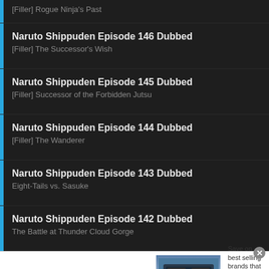[Filler] Rogue Ninja's Past
Naruto Shippuden Episode 146 Dubbed
[Filler] The Successor's Wish
Naruto Shippuden Episode 145 Dubbed
[Filler] Successor of the Forbidden Jutsu
Naruto Shippuden Episode 144 Dubbed
[Filler] The Wanderer
Naruto Shippuden Episode 143 Dubbed
Eight-Tails vs. Sasuke
Naruto Shippuden Episode 142 Dubbed
The Battle at Thunder Cloud Gorge
[Figure (screenshot): Wayfair advertisement banner: Top Appliances Low Prices, Save on best selling brands that live up to the hype, Shop now button]